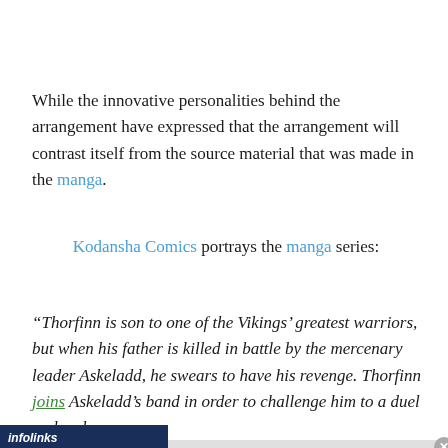While the innovative personalities behind the arrangement have expressed that the arrangement will contrast itself from the source material that was made in the manga.
Kodansha Comics portrays the manga series:
“Thorfinn is son to one of the Vikings’ greatest warriors, but when his father is killed in battle by the mercenary leader Askeladd, he swears to have his revenge. Thorfinn joins Askeladd’s band in order to challenge him to a duel and ends